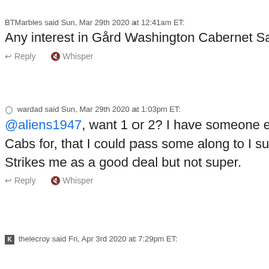BTMarbles said Sun, Mar 29th 2020 at 12:41am ET:
Any interest in Gård Washington Cabernet Sa...
Reply   Whisper
wardad said Sun, Mar 29th 2020 at 1:03pm ET:
@aliens1947, want 1 or 2? I have someone el... Cabs for, that I could pass some along to I sup... Strikes me as a good deal but not super.
Reply   Whisper
thelecroy said Fri, Apr 3rd 2020 at 7:29pm ET: